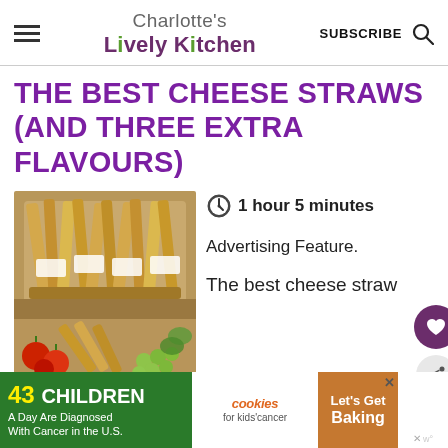Charlotte's Lively Kitchen
THE BEST CHEESE STRAWS (AND THREE EXTRA FLAVOURS)
[Figure (photo): Photo of cheese straws displayed in jars and on a board with tomatoes and grapes]
1 hour 5 minutes
Advertising Feature.
The best cheese straw you'll ever taste with homemade flaky
[Figure (infographic): Advertisement banner: 43 CHILDREN A Day Are Diagnosed With Cancer in the U.S. - cookies for kids cancer - Let's Get Baking]